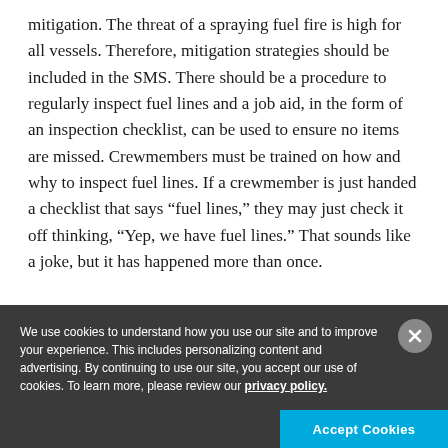mitigation. The threat of a spraying fuel fire is high for all vessels. Therefore, mitigation strategies should be included in the SMS. There should be a procedure to regularly inspect fuel lines and a job aid, in the form of an inspection checklist, can be used to ensure no items are missed. Crewmembers must be trained on how and why to inspect fuel lines. If a crewmember is just handed a checklist that says “fuel lines,” they may just check it off thinking, “Yep, we have fuel lines.” That sounds like a joke, but it has happened more than once.
We use cookies to understand how you use our site and to improve your experience. This includes personalizing content and advertising. By continuing to use our site, you accept our use of cookies. To learn more, please review our privacy policy.